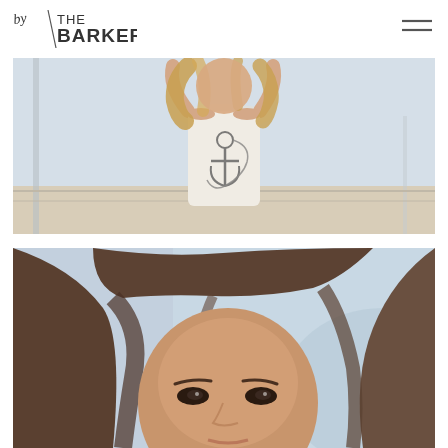[Figure (logo): By The Barkers logo — handwritten 'by' text with 'THE BARKERS' in sans-serif block letters]
[Figure (photo): Young blonde girl wearing a white sleeveless tank top with an anchor graphic print, hands raised behind her head, photographed against a light coastal/beach background]
[Figure (photo): Close-up portrait of a young girl with long brunette hair, looking slightly upward, photographed against a soft blurred outdoor background]